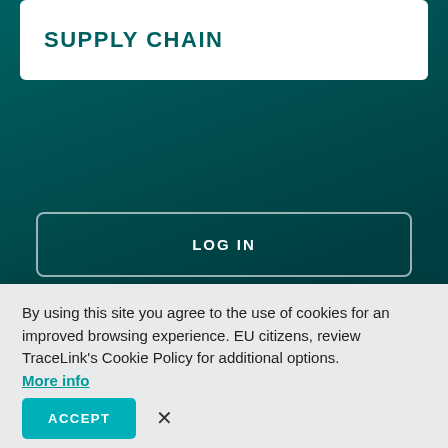SUPPLY CHAIN
LOG IN
LEGAL & TRUST
TRACELINK UNIVERSITY
SUPPORT
CONTACT US
CAREERS
By using this site you agree to the use of cookies for an improved browsing experience. EU citizens, review TraceLink's Cookie Policy for additional options. More info
ACCEPT